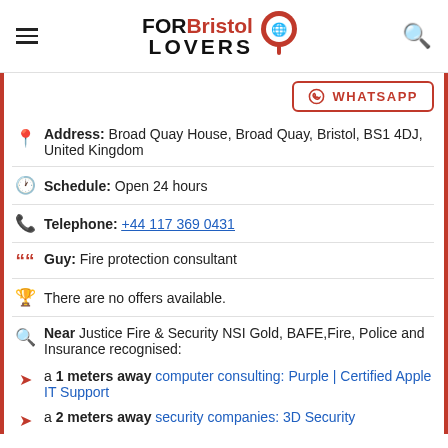FOR Bristol LOVERS
WHATSAPP
Address: Broad Quay House, Broad Quay, Bristol, BS1 4DJ, United Kingdom
Schedule: Open 24 hours
Telephone: +44 117 369 0431
Guy: Fire protection consultant
There are no offers available.
Near Justice Fire & Security NSI Gold, BAFE,Fire, Police and Insurance recognised:
a 1 meters away computer consulting: Purple | Certified Apple IT Support
a 2 meters away security companies: 3D Security